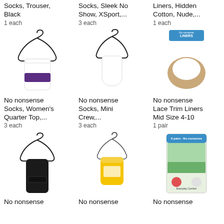Socks, Trouser, Black
1 each
Socks, Sleek No Show, XSport,...
3 each
Liners, Hidden Cotton, Nude,...
1 each
[Figure (photo): No nonsense white quarter ankle socks on a hanger]
[Figure (photo): No nonsense white mini crew socks on a hanger]
[Figure (photo): No nonsense lace trim nude liner socks in packaging]
No nonsense Socks, Women's Quarter Top,...
3 each
No nonsense Socks, Mini Crew,...
3 each
No nonsense Lace Trim Liners Mid Size 4-10
1 pair
[Figure (photo): No nonsense black trouser socks on a hanger]
[Figure (photo): No nonsense yellow no-show socks on a hanger]
[Figure (photo): No nonsense socks multipack in packaging]
No nonsense
No nonsense
No nonsense